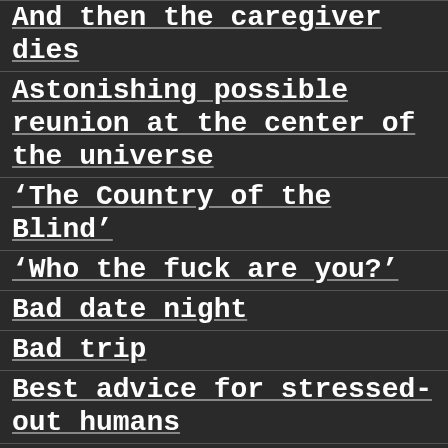And then the caregiver dies
Astonishing possible reunion at the center of the universe
‘The Country of the Blind’
‘Who the fuck are you?’
Bad date night
Bad trip
Best advice for stressed-out humans
Blonde hair flying
Brando interviews
Classy — and steamy
Confessions of a secondary card holder